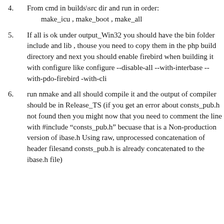From cmd in builds\src dir and run in order: make_icu , make_boot , make_all
If all is ok under output_Win32 you should have the bin folder include and lib , thouse you need to copy them in the php build directory and next you should enable firebird when building it with configure like configure --disable-all --with-interbase --with-pdo-firebird -with-cli
run nmake and all should compile it and the output of compiler should be in Release_TS (if you get an error about consts_pub.h not found then you might now that you need to comment the line with #include “consts_pub.h” becuase that is a Non-production version of ibase.h Using raw, unprocessed concatenation of header filesand consts_pub.h is already concatenated to the ibase.h file)